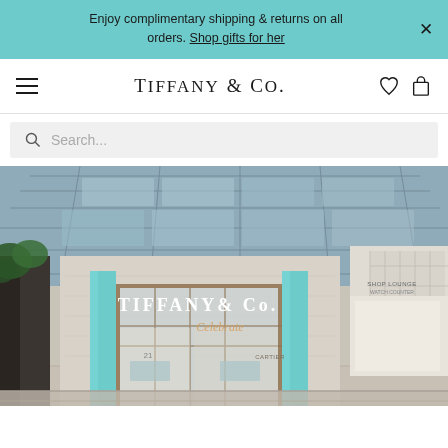Enjoy complimentary shipping & returns on all orders. Shop gifts for her
TIFFANY & CO.
Search...
[Figure (photo): Exterior of a Tiffany & Co. luxury retail store inside a shopping mall, featuring teal-accented columns, gold signage reading TIFFANY & CO., glass facade entrance, and a large skylight ceiling above.]